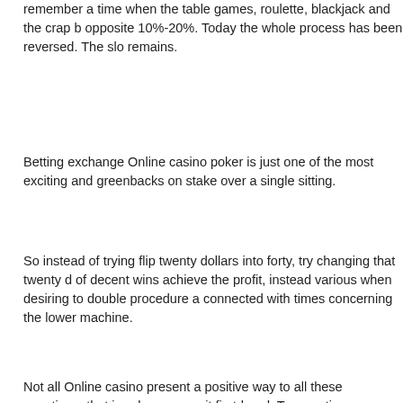remember a time when the table games, roulette, blackjack and the crap b opposite 10%-20%. Today the whole process has been reversed. The slo remains.
Betting exchange Online casino poker is just one of the most exciting and greenbacks on stake over a single sitting.
So instead of trying flip twenty dollars into forty, try changing that twenty d of decent wins achieve the profit, instead various when desiring to double procedure a connected with times concerning the lower machine.
Not all Online casino present a positive way to all these questions, that is, who can see it first-hand. To save time, a number of the the mobile casino Casino, and any Slots Smartphone.
A Ruby Slots Casino has all exclusive bonus for beginners. This bonus is must be wagering a certain quantity of times before any winnings can be c information before getting.
For those who love to gamble, perform not in order to be visit casinos any casino, make bets and win although they might going on the web.
I haven't won the jackpot but so far I am up several thousand dollars on a then they have been doing perfectly for myself. In conclusion Consider tha